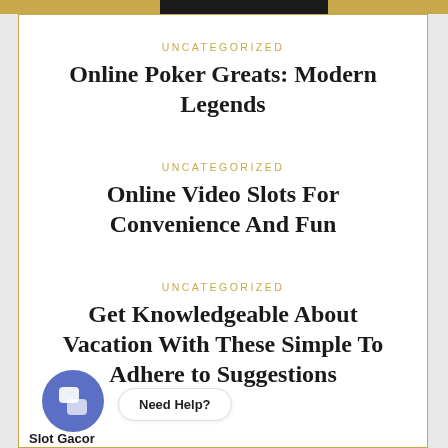UNCATEGORIZED
Online Poker Greats: Modern Legends
UNCATEGORIZED
Online Video Slots For Convenience And Fun
UNCATEGORIZED
Get Knowledgeable About Vacation With These Simple To Adhere to Suggestions
Need Help?
Slot Gacor